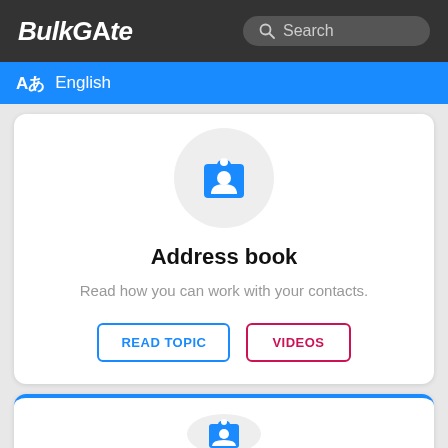BulkGate
Search
Aあ English
[Figure (illustration): Blue contact/address book icon on a light grey circle background]
Address book
Read how you can work with your contacts.
READ TOPIC
VIDEOS
[Figure (illustration): Partial view of a second card with a grey circle icon, cut off at bottom of page]